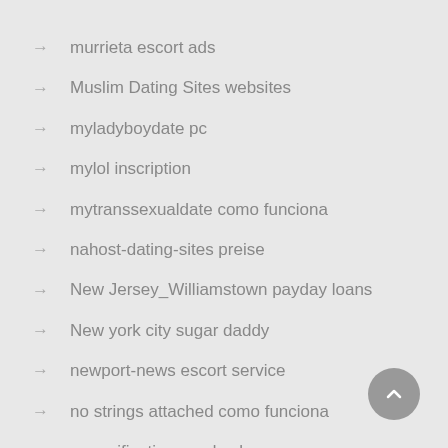murrieta escort ads
Muslim Dating Sites websites
myladyboydate pc
mylol inscription
mytranssexualdate como funciona
nahost-dating-sites preise
New Jersey_Williamstown payday loans
New york city sugar daddy
newport-news escort service
no strings attached como funciona
no verification payday loans